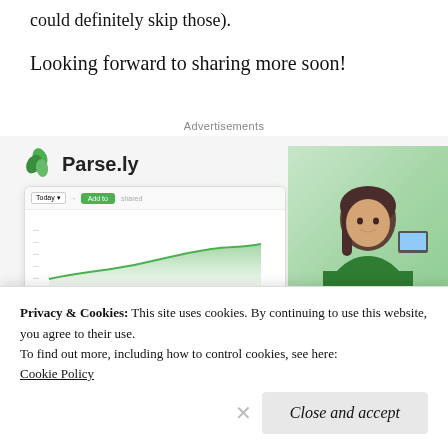could definitely skip those).
Looking forward to sharing more soon!
[Figure (screenshot): Advertisement for Parse.ly Content Analytics showing logo, a dashboard screenshot with a line chart, a person in green sweater, and headline text 'Content Analytics Made Easy']
Privacy & Cookies: This site uses cookies. By continuing to use this website, you agree to their use.
To find out more, including how to control cookies, see here:
Cookie Policy
Close and accept